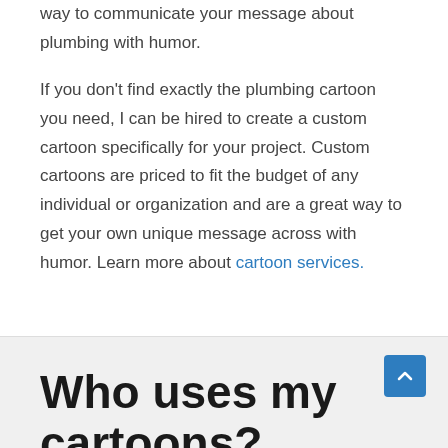way to communicate your message about plumbing with humor.
If you don't find exactly the plumbing cartoon you need, I can be hired to create a custom cartoon specifically for your project. Custom cartoons are priced to fit the budget of any individual or organization and are a great way to get your own unique message across with humor. Learn more about cartoon services.
Who uses my cartoons?